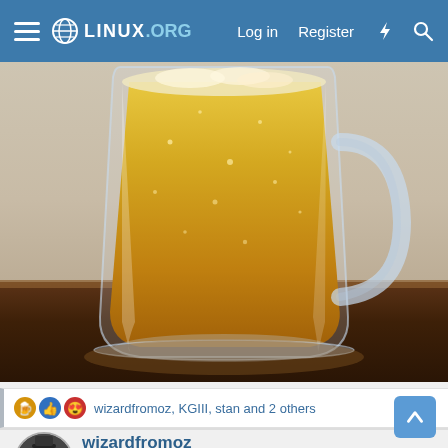Linux.org — Log in   Register
[Figure (photo): Close-up photo of a full beer mug on a dark wooden table. The glass mug is filled with golden lager beer with carbonation bubbles visible. The background is a beige/grey wall.]
wizardfromoz, KGIII, stan and 2 others
wizardfromoz
Administrator   Staff member   Gold Supporter